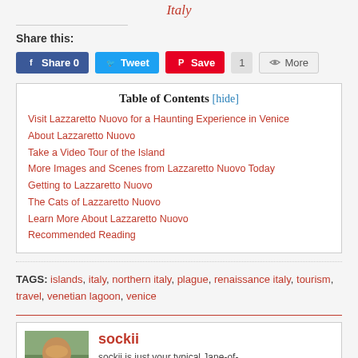Italy
Share this:
[Figure (infographic): Social share buttons: Facebook Share 0, Twitter Tweet, Pinterest Save with count 1, More button]
| Table of Contents |
| --- |
| Visit Lazzaretto Nuovo for a Haunting Experience in Venice |
| About Lazzaretto Nuovo |
| Take a Video Tour of the Island |
| More Images and Scenes from Lazzaretto Nuovo Today |
| Getting to Lazzaretto Nuovo |
| The Cats of Lazzaretto Nuovo |
| Learn More About Lazzaretto Nuovo |
| Recommended Reading |
TAGS: islands, italy, northern italy, plague, renaissance italy, tourism, travel, venetian lagoon, venice
sockii
sockii is just your typical Jane-of-